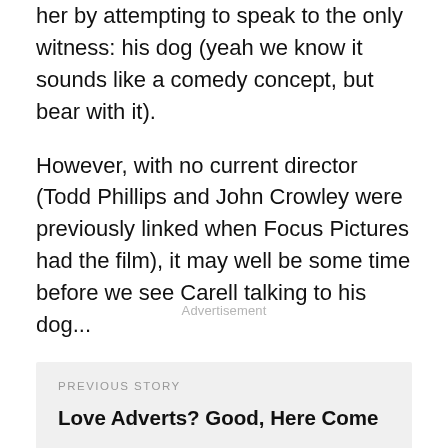her by attempting to speak to the only witness: his dog (yeah we know it sounds like a comedy concept, but bear with it).
However, with no current director (Todd Phillips and John Crowley were previously linked when Focus Pictures had the film), it may well be some time before we see Carell talking to his dog...
Advertisement
PREVIOUS STORY
Love Adverts? Good, Here Come More